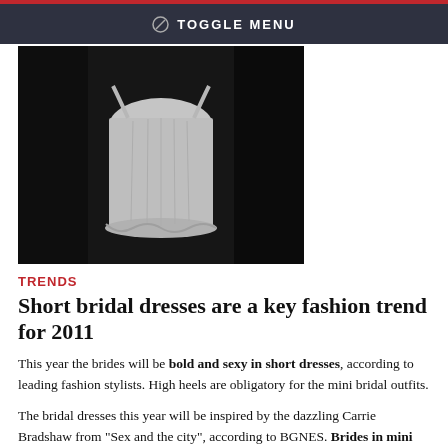TOGGLE MENU
[Figure (photo): Black and white photo of a short white bridal dress/corset against dark fur background]
TRENDS
Short bridal dresses are a key fashion trend for 2011
This year the brides will be bold and sexy in short dresses, according to leading fashion stylists. High heels are obligatory for the mini bridal outfits.
The bridal dresses this year will be inspired by the dazzling Carrie Bradshaw from "Sex and the city", according to BGNES. Brides in mini skirts fascinated the fashion scenes during the defiles. Silk and embroideries are back in fashion. Very suitable are the dresses pencil type, which underline the body as well as the "ballet girl" models. Clean lines will make every woman look more romantic and feminine.